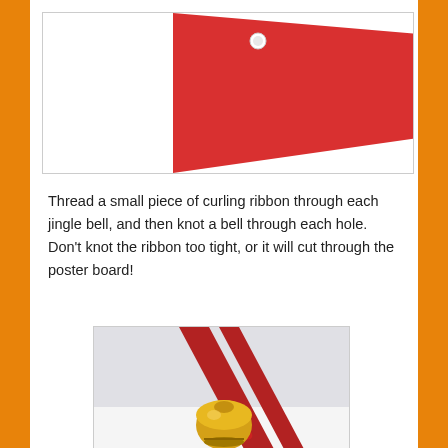[Figure (photo): A red triangular pennant shape with a small circular hole/eyelet near the top]
Thread a small piece of curling ribbon through each jingle bell, and then knot a bell through each hole. Don't knot the ribbon too tight, or it will cut through the poster board!
[Figure (photo): A gold jingle bell tied with red ribbon/curling ribbon against a light background]